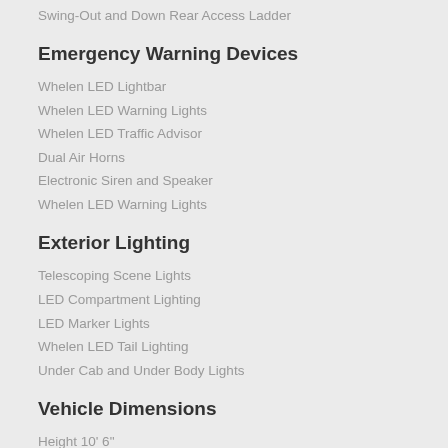Swing-Out and Down Rear Access Ladder
Emergency Warning Devices
Whelen LED Lightbar
Whelen LED Warning Lights
Whelen LED Traffic Advisor
Dual Air Horns
Electronic Siren and Speaker
Whelen LED Warning Lights
Exterior Lighting
Telescoping Scene Lights
LED Compartment Lighting
LED Marker Lights
Whelen LED Tail Lighting
Under Cab and Under Body Lights
Vehicle Dimensions
Height 10' 6"
Length 33' 5"
Wheelbase 20' 3"